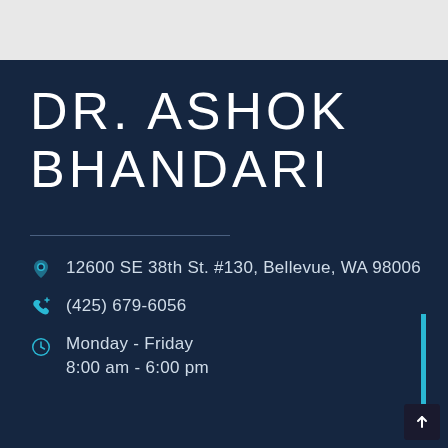DR. ASHOK BHANDARI
12600 SE 38th St. #130, Bellevue, WA 98006
(425) 679-6056
Monday - Friday
8:00 am - 6:00 pm